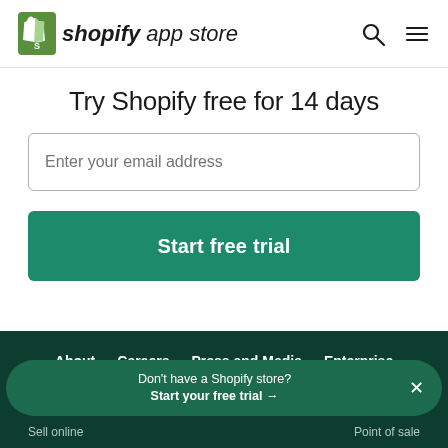shopify app store
Try Shopify free for 14 days
Enter your email address
Start free trial
About   Careers   Press and Media   Enterprise   Sitemap
Don't have a Shopify store? Start your free trial →
Sell online   Point of sale